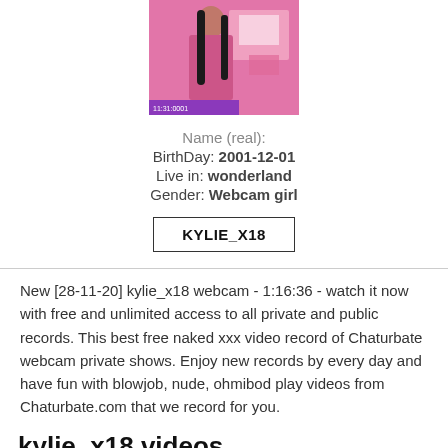[Figure (photo): Webcam screenshot of a woman with long dark hair in a pink room]
Name (real):
BirthDay: 2001-12-01
Live in: wonderland
Gender: Webcam girl
KYLIE_X18
New [28-11-20] kylie_x18 webcam - 1:16:36 - watch it now with free and unlimited access to all private and public records. This best free naked xxx video record of Chaturbate webcam private shows. Enjoy new records by every day and have fun with blowjob, nude, ohmibod play videos from Chaturbate.com that we record for you.
kylie_x18 videos